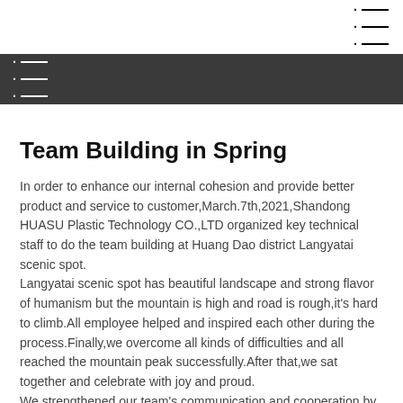[Navigation menu icon - top right]
[Navigation menu icon - dark bar]
Team Building in Spring
In order to enhance our internal cohesion and provide better product and service to customer,March.7th,2021,Shandong HUASU Plastic Technology CO.,LTD organized key technical staff to do the team building at Huang Dao district Langyatai scenic spot.
Langyatai scenic spot has beautiful landscape and strong flavor of humanism but the mountain is high and road is rough,it's hard to climb.All employee helped and inspired each other during the process.Finally,we overcome all kinds of difficulties and all reached the mountain peak successfully.After that,we sat together and celebrate with joy and proud.
We strengthened our team's communication and cooperation by